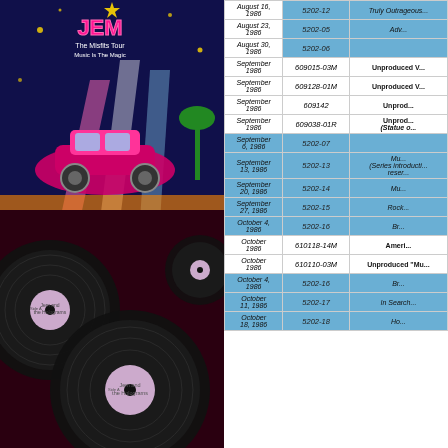[Figure (illustration): Jem animated series poster/cover art with colorful car and stars on dark blue background, and vinyl records below with 'Licensing NOW!!!' text]
| Date | Prod# | Title |
| --- | --- | --- |
| August 16, 1986 | 5202-12 | Truly Outrageous... |
| August 23, 1986 | 5202-05 | Adv... |
| August 30, 1986 | 5202-06 |  |
| September 1986 | 609015-03M | Unproduced V... |
| September 1986 | 609128-01M | Unproduced V... |
| September 1986 | 609142 | Unprod... |
| September 1986 | 609038-01R | Unprod... (Statue o... |
| September 6, 1986 | 5202-07 |  |
| September 13, 1986 | 5202-13 | Mu... (Series introducti... reser... |
| September 20, 1986 | 5202-14 | Mu... |
| September 27, 1986 | 5202-15 | Rock... |
| October 4, 1986 | 5202-16 | Br... |
| October 1986 | 610118-14M | Ameri... |
| October 1986 | 610110-03M | Unproduced "Mu... |
| October 4, 1986 | 5202-16 | Br... |
| October 11, 1986 | 5202-17 | In Search... |
| October 18, 1986 | 5202-18 | Ho... |